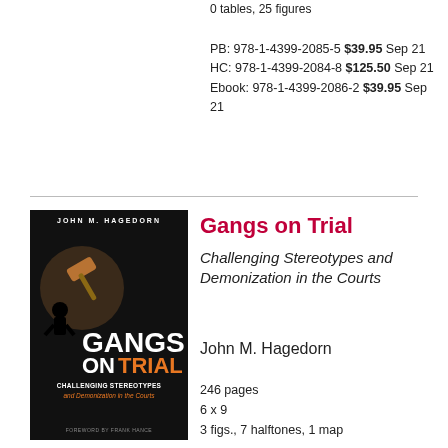0 tables, 25 figures
PB: 978-1-4399-2085-5 $39.95 Sep 21
HC: 978-1-4399-2084-8 $125.50 Sep 21
Ebook: 978-1-4399-2086-2 $39.95 Sep 21
[Figure (photo): Book cover of 'Gangs on Trial: Challenging Stereotypes and Demonization in the Courts' by John M. Hagedorn. Black cover with a gavel image, orange and white text.]
Gangs on Trial
Challenging Stereotypes and Demonization in the Courts
John M. Hagedorn
246 pages
6 x 9
3 figs., 7 halftones, 1 map